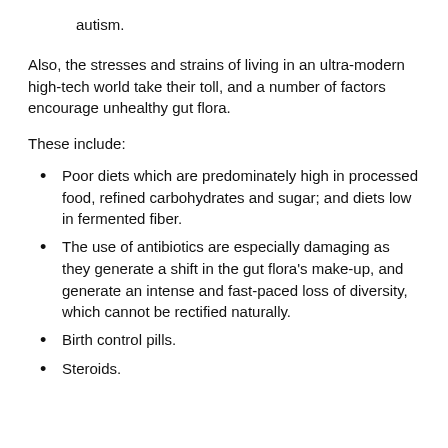autism.
Also, the stresses and strains of living in an ultra-modern high-tech world take their toll, and a number of factors encourage unhealthy gut flora.
These include:
Poor diets which are predominately high in processed food, refined carbohydrates and sugar; and diets low in fermented fiber.
The use of antibiotics are especially damaging as they generate a shift in the gut flora's make-up, and generate an intense and fast-paced loss of diversity, which cannot be rectified naturally.
Birth control pills.
Steroids.